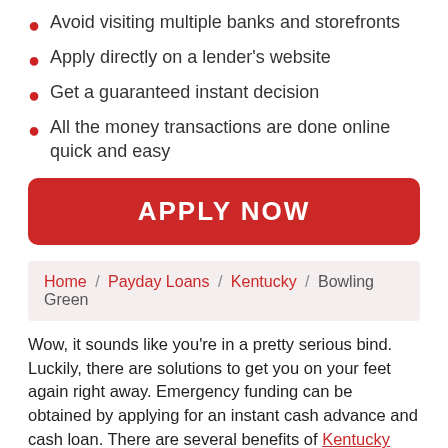Avoid visiting multiple banks and storefronts
Apply directly on a lender's website
Get a guaranteed instant decision
All the money transactions are done online quick and easy
APPLY NOW
Home / Payday Loans / Kentucky / Bowling Green
Wow, it sounds like you're in a pretty serious bind. Luckily, there are solutions to get you on your feet again right away. Emergency funding can be obtained by applying for an instant cash advance and cash loan. There are several benefits of Kentucky payday loans no